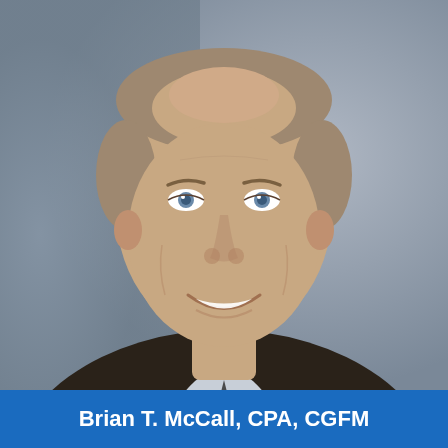[Figure (photo): Professional headshot of Brian T. McCall. A middle-aged man with short light-colored hair, blue eyes, smiling, wearing a dark suit jacket and light-colored dress shirt. The background is a neutral blurred grey.]
Brian T. McCall, CPA, CGFM